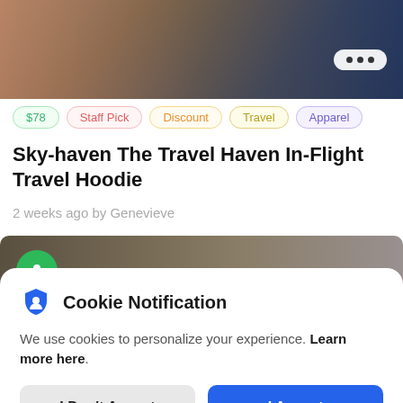[Figure (photo): Partial photo of a person reclining, muted warm-to-cool gradient background; three-dot menu button in top-right corner]
$78
Staff Pick
Discount
Travel
Apparel
Sky-haven The Travel Haven In-Flight Travel Hoodie
2 weeks ago by Genevieve
[Figure (photo): Partial second image with dark brown gradient background and a green circular avatar icon on the left]
Cookie Notification
We use cookies to personalize your experience. Learn more here.
I Don't Accept
I Accept